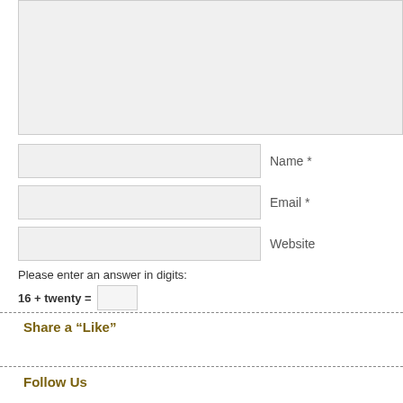[Figure (other): Large light gray textarea/comment box input field]
Name *
Email *
Website
Please enter an answer in digits:
16 + twenty =
Share a “Like”
Follow Us